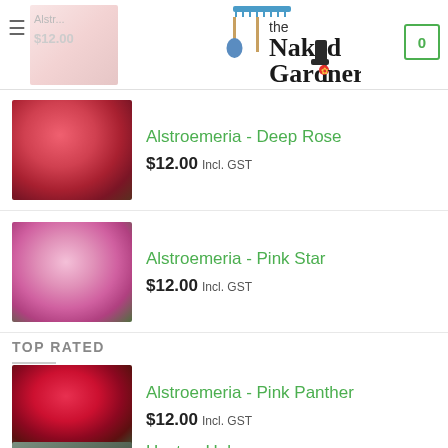The Naked Gardener - website header with logo, hamburger menu, and shopping cart showing 0 items
Alstroemeria - Deep Rose $12.00 Incl. GST
Alstroemeria - Pink Star $12.00 Incl. GST
TOP RATED
Alstroemeria - Pink Panther $12.00 Incl. GST
Hosta - Halcyon $12.00 Incl. GST